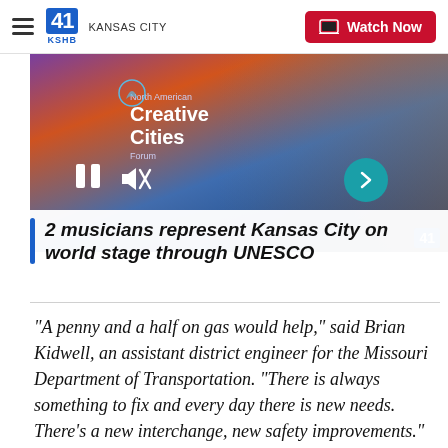41 KSHB KANSAS CITY | Watch Now
[Figure (screenshot): Video thumbnail showing North American Creative Cities Forum with a performer on stage, with pause, mute, and forward arrow controls visible]
2 musicians represent Kansas City on world stage through UNESCO
"A penny and a half on gas would help," said Brian Kidwell, an assistant district engineer for the Missouri Department of Transportation. "There is always something to fix and every day there is new needs. There's a new interchange, new safety improvements."